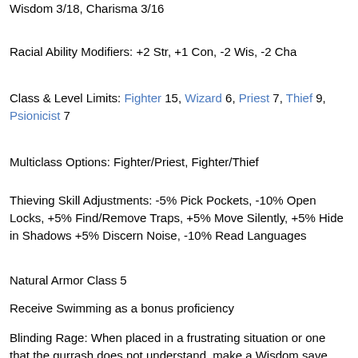Wisdom 3/18, Charisma 3/16
Racial Ability Modifiers: +2 Str, +1 Con, -2 Wis, -2 Cha
Class & Level Limits: Fighter 15, Wizard 6, Priest 7, Thief 9, Psionicist 7
Multiclass Options: Fighter/Priest, Fighter/Thief
Thieving Skill Adjustments: -5% Pick Pockets, -10% Open Locks, +5% Find/Remove Traps, +5% Move Silently, +5% Hide in Shadows +5% Discern Noise, -10% Read Languages
Natural Armor Class 5
Receive Swimming as a bonus proficiency
Blinding Rage: When placed in a frustrating situation or one that the gurrash does not understand, make a Wisdom save with a -2 penalty. On a success, the gurrash keeps control. On a failure, they become